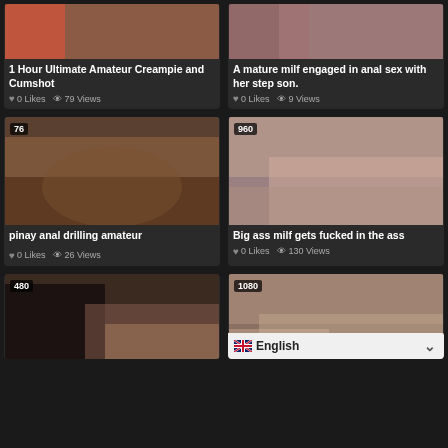[Figure (photo): Thumbnail image top left - cropped close-up]
1 Hour Ultimate Amateur Creampie and Cumshot
0 Likes  79 Views
[Figure (photo): Thumbnail image top right - mature woman]
A mature milf engaged in anal sex with her step son.
0 Likes  9 Views
[Figure (photo): Thumbnail image middle left - badge 76 - pinay anal drilling amateur]
pinay anal drilling amateur
0 Likes  26 Views
[Figure (photo): Thumbnail image middle right - badge 960 - big ass milf]
Big ass milf gets fucked in the ass
0 Likes  130 Views
[Figure (photo): Thumbnail image bottom left - badge 480]
[Figure (photo): Thumbnail image bottom right - badge 1080]
English